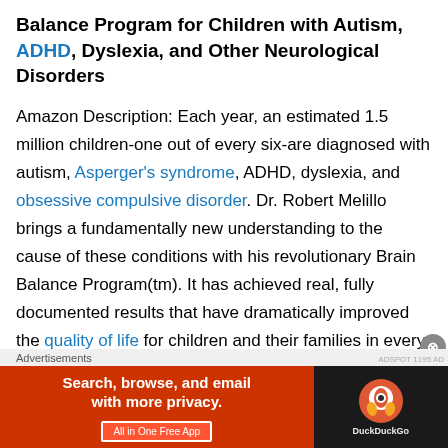Balance Program for Children with Autism, ADHD, Dyslexia, and Other Neurological Disorders
Amazon Description: Each year, an estimated 1.5 million children-one out of every six-are diagnosed with autism, Asperger's syndrome, ADHD, dyslexia, and obsessive compulsive disorder. Dr. Robert Melillo brings a fundamentally new understanding to the cause of these conditions with his revolutionary Brain Balance Program(tm). It has achieved real, fully documented results that have dramatically improved the quality of life for children and their families in every aspect: behavioral, emotional, academic, and social. Disconnected Kids shows parents how to use this drug-free approach at
Advertisements
[Figure (screenshot): DuckDuckGo advertisement banner: orange left section with 'Search, browse, and email with more privacy. All in One Free App' and dark right section with DuckDuckGo logo]